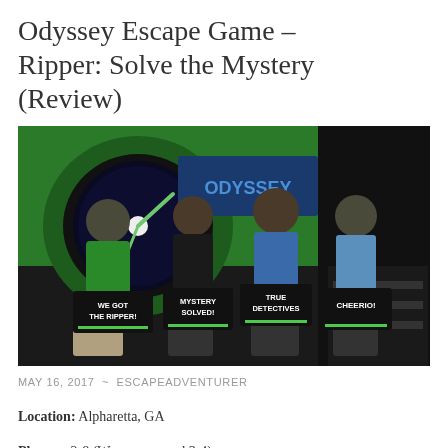Odyssey Escape Game – Ripper: Solve the Mystery (Review)
[Figure (photo): Four people standing together holding black signs reading 'WE GOT THE RIPPER!', 'MYSTERY SOLVED!', 'TRUE DETECTIVES', and 'CHEERIO!' in front of a green and blue escape room backdrop.]
MAY 16, 2017 ~ ESCAPEADVENTURER
Location: Alpharetta, GA
Players: 2-8 (We recommend 3-4)